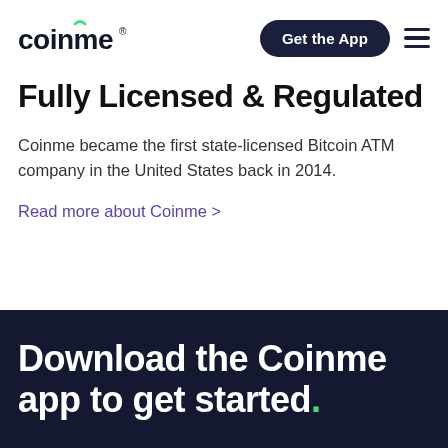coinme | Get the App
Fully Licensed & Regulated
Coinme became the first state-licensed Bitcoin ATM company in the United States back in 2014.
Read more about Coinme >
Download the Coinme app to get started.